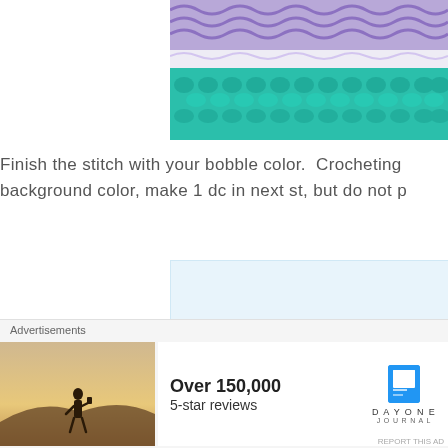[Figure (photo): Close-up photo of crochet stitches in multiple colors: purple/white variegated yarn on top and teal/turquoise bobble stitches below, partially cropped on the right side.]
Finish the stitch with your bobble color.  Crocheting background color, make 1 dc in next st, but do not p
[Figure (photo): Placeholder light blue image, partially visible, showing next step in crochet tutorial.]
Advertisements
[Figure (photo): Advertisement banner: photo of person holding phone at sunset with text 'Over 150,000 5-star reviews' and Day One Journal logo.]